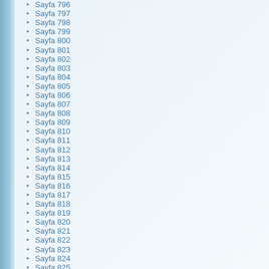Sayfa 796
Sayfa 797
Sayfa 798
Sayfa 799
Sayfa 800
Sayfa 801
Sayfa 802
Sayfa 803
Sayfa 804
Sayfa 805
Sayfa 806
Sayfa 807
Sayfa 808
Sayfa 809
Sayfa 810
Sayfa 811
Sayfa 812
Sayfa 813
Sayfa 814
Sayfa 815
Sayfa 816
Sayfa 817
Sayfa 818
Sayfa 819
Sayfa 820
Sayfa 821
Sayfa 822
Sayfa 823
Sayfa 824
Sayfa 825